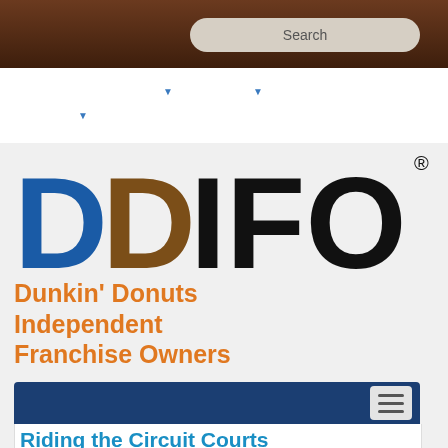Search
[Figure (logo): DDIFO logo with D in blue, D in brown, IFO in black with registered trademark symbol]
Dunkin' Donuts Independent Franchise Owners
Riding the Circuit Courts